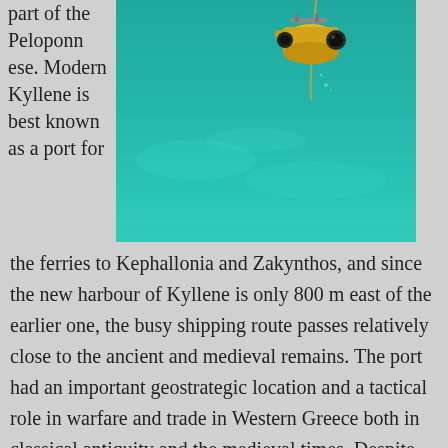part of the Peloponnese. Modern Kyllene is best known as a port for
[Figure (photo): Underwater photo showing an ROV (remotely operated vehicle) with yellow and dark body descending through teal/turquoise clear water with sandy bottom visible]
the ferries to Kephallonia and Zakynthos, and since the new harbour of Kyllene is only 800 m east of the earlier one, the busy shipping route passes relatively close to the ancient and medieval remains. The port had an important geostrategic location and a tactical role in warfare and trade in Western Greece both in classical antiquity and the medieval times. Despite